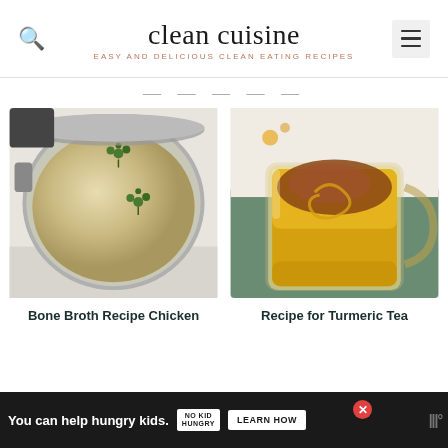clean cuisine — EASY AND DELICIOUS CLEAN EATING RECIPES
— — — — —
[Figure (photo): Overhead view of a creamy bone broth chicken soup in a silver pot, garnished with fresh parsley leaves]
[Figure (photo): Overhead view of a golden turmeric tea in a glass mug, topped with cinnamon powder]
Bone Broth Recipe Chicken
Recipe for Turmeric Tea
You can help hungry kids. NO KID HUNGRY LEARN HOW